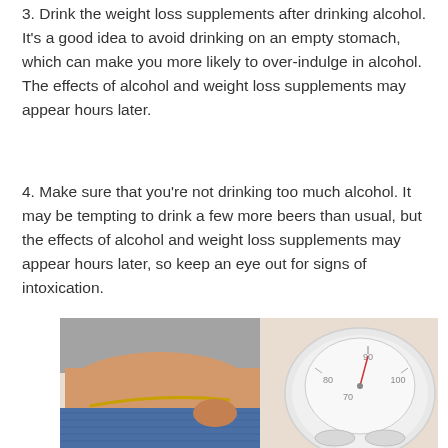3. Drink the weight loss supplements after drinking alcohol. It's a good idea to avoid drinking on an empty stomach, which can make you more likely to over-indulge in alcohol. The effects of alcohol and weight loss supplements may appear hours later.
4. Make sure that you're not drinking too much alcohol. It may be tempting to drink a few more beers than usual, but the effects of alcohol and weight loss supplements may appear hours later, so keep an eye out for signs of intoxication.
[Figure (photo): A person wearing a gray t-shirt pulling out the waistband of oversized jeans to show weight loss, with a bathroom scale visible in the background showing numbers 70, 80, 90, 100.]